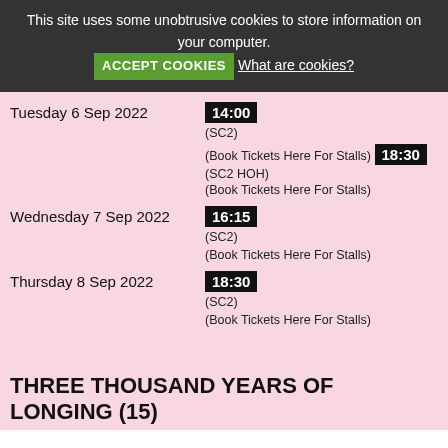This site uses some unobtrusive cookies to store information on your computer. ACCEPT COOKIES What are cookies?
Tuesday 6 Sep 2022 | 14:00 (SC2) (Book Tickets Here For Stalls) 18:30 (SC2 HOH) (Book Tickets Here For Stalls)
Wednesday 7 Sep 2022 | 16:15 (SC2) (Book Tickets Here For Stalls)
Thursday 8 Sep 2022 | 18:30 (SC2) (Book Tickets Here For Stalls)
THREE THOUSAND YEARS OF LONGING (15)